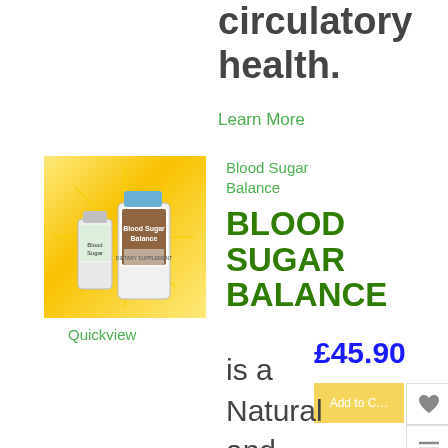circulatory health.
Learn More
[Figure (photo): Product image of Blood Sugar Balance supplement bottles on a golden/yellow sunburst background]
Quickview
Blood Sugar Balance
BLOOD SUGAR BALANCE
£45.90
Add to Cart
is a Natural and Alternative Herbal Remedy